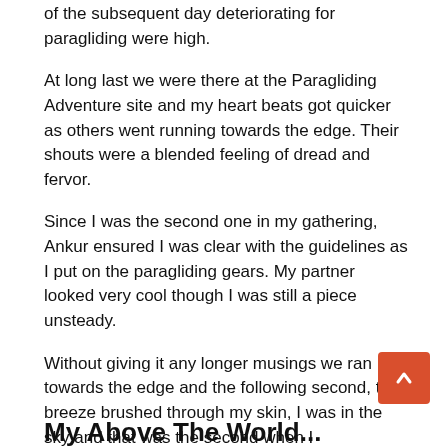of the subsequent day deteriorating for paragliding were high.
At long last we were there at the Paragliding Adventure site and my heart beats got quicker as others went running towards the edge. Their shouts were a blended feeling of dread and fervor.
Since I was the second one in my gathering, Ankur ensured I was clear with the guidelines as I put on the paragliding gears. My partner looked very cool though I was still a piece unsteady.
Without giving it any longer musings we ran towards the edge and the following second, the breeze brushed through my skin, I was in the sky and that was the second when I comprehended the genuine importance of being large and in charge.
My Above The World...